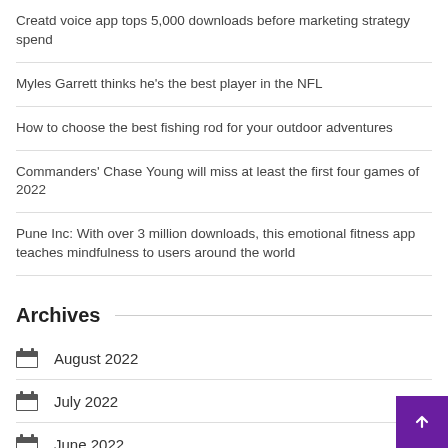Creatd voice app tops 5,000 downloads before marketing strategy spend
Myles Garrett thinks he's the best player in the NFL
How to choose the best fishing rod for your outdoor adventures
Commanders' Chase Young will miss at least the first four games of 2022
Pune Inc: With over 3 million downloads, this emotional fitness app teaches mindfulness to users around the world
Archives
August 2022
July 2022
June 2022
May 2022